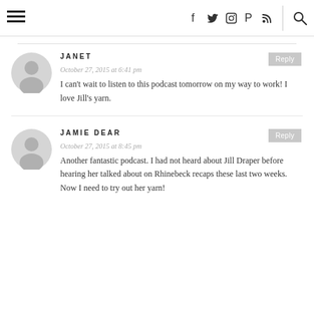≡  f  t  ☷  ⊕  )))  🔍
JANET
October 27, 2015 at 6:41 pm
I can't wait to listen to this podcast tomorrow on my way to work! I love Jill's yarn.
JAMIE DEAR
October 27, 2015 at 8:45 pm
Another fantastic podcast. I had not heard about Jill Draper before hearing her talked about on Rhinebeck recaps these last two weeks. Now I need to try out her yarn!